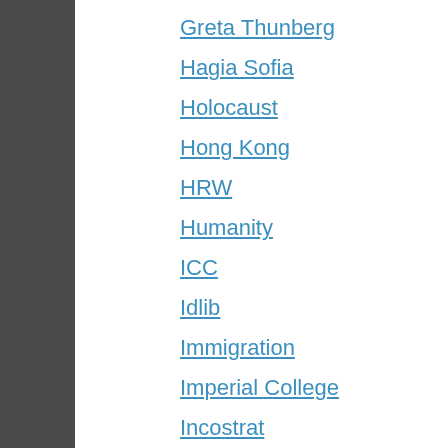Greta Thunberg
Hagia Sofia
Holocaust
Hong Kong
HRW
Humanity
ICC
Idlib
Immigration
Imperial College
Incostrat
India
International
Iran
Iraq
Irwin Cotler